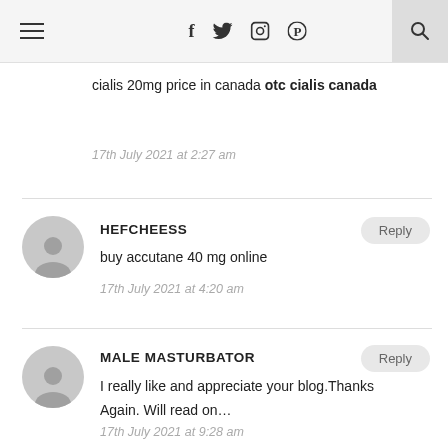Navigation bar with hamburger menu and social icons (f, twitter, instagram, pinterest) and search
cialis 20mg price in canada otc cialis canada
17th July 2021 at 2:27 am
HEFCHEESS
buy accutane 40 mg online
17th July 2021 at 4:20 am
MALE MASTURBATOR
I really like and appreciate your blog.Thanks Again. Will read on…
17th July 2021 at 9:28 am